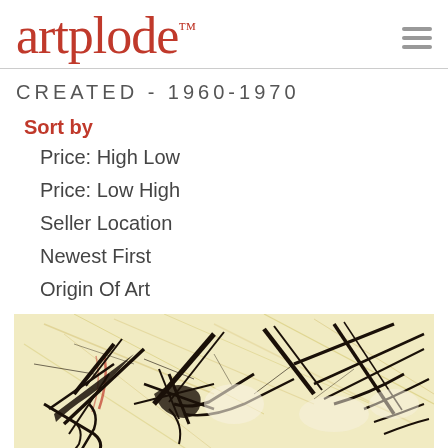artplode™
CREATED - 1960-1970
Sort by
Price: High Low
Price: Low High
Seller Location
Newest First
Origin Of Art
[Figure (illustration): Abstract expressionist artwork with dark ink brushstrokes on a light yellowish background, featuring dynamic sweeping lines suggesting birds or figures in motion.]